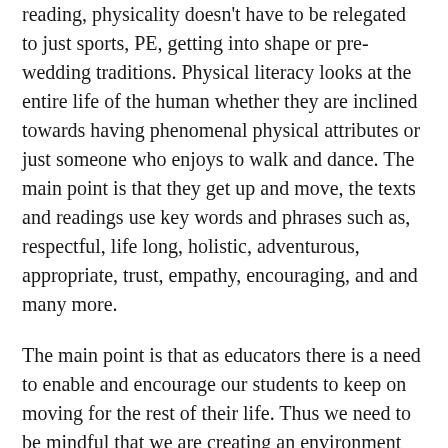reading, physicality doesn't have to be relegated to just sports, PE, getting into shape or pre-wedding traditions. Physical literacy looks at the entire life of the human whether they are inclined towards having phenomenal physical attributes or just someone who enjoys to walk and dance. The main point is that they get up and move, the texts and readings use key words and phrases such as, respectful, life long, holistic, adventurous, appropriate, trust, empathy, encouraging, and and many more.
The main point is that as educators there is a need to enable and encourage our students to keep on moving for the rest of their life. Thus we need to be mindful that we are creating an environment that will foster literate physical movers for life and that we need to focus both on the literacy part and the educational component of teaching rather than just using sports or their own innate motivations to attain this level of literacy.